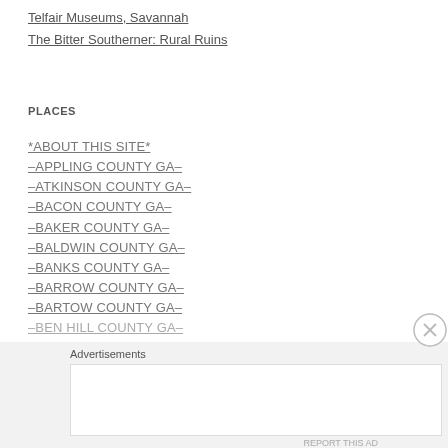Telfair Museums, Savannah
The Bitter Southerner: Rural Ruins
PLACES
*ABOUT THIS SITE*
–APPLING COUNTY GA–
–ATKINSON COUNTY GA–
–BACON COUNTY GA–
–BAKER COUNTY GA–
–BALDWIN COUNTY GA–
–BANKS COUNTY GA–
–BARROW COUNTY GA–
–BARTOW COUNTY GA–
–BEN HILL COUNTY GA–
Advertisements
REPORT THIS AD